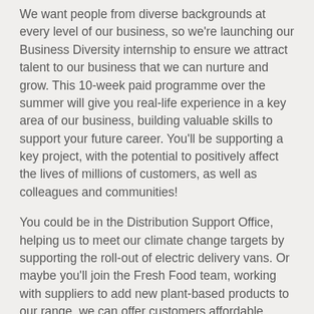We want people from diverse backgrounds at every level of our business, so we're launching our Business Diversity internship to ensure we attract talent to our business that we can nurture and grow. This 10-week paid programme over the summer will give you real-life experience in a key area of our business, building valuable skills to support your future career. You'll be supporting a key project, with the potential to positively affect the lives of millions of customers, as well as colleagues and communities!
You could be in the Distribution Support Office, helping us to meet our climate change targets by supporting the roll-out of electric delivery vans. Or maybe you'll join the Fresh Food team, working with suppliers to add new plant-based products to our range, we can offer customers affordable, plant-based alternatives. From Marketing to Procurement, HR to Supply Chain, whichever team you join, we'll make sure you maximise your opportunity to learn and develop.